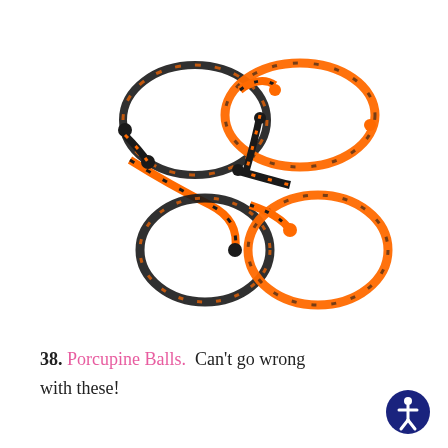[Figure (photo): Photo of several orange and black braided rope bracelets (porcupine balls) intertwined together on a white background.]
38. Porcupine Balls.  Can't go wrong with these!